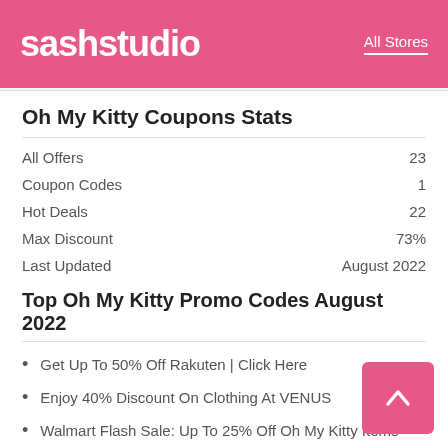sashstudio   All Stores
Oh My Kitty Coupons Stats
|  |  |
| --- | --- |
| All Offers | 23 |
| Coupon Codes | 1 |
| Hot Deals | 22 |
| Max Discount | 73% |
| Last Updated | August 2022 |
Top Oh My Kitty Promo Codes August 2022
Get Up To 50% Off Rakuten | Click Here
Enjoy 40% Discount On Clothing At VENUS
Walmart Flash Sale: Up To 25% Off Oh My Kitty Items
Discover Up To 40% Off Natural Lenses